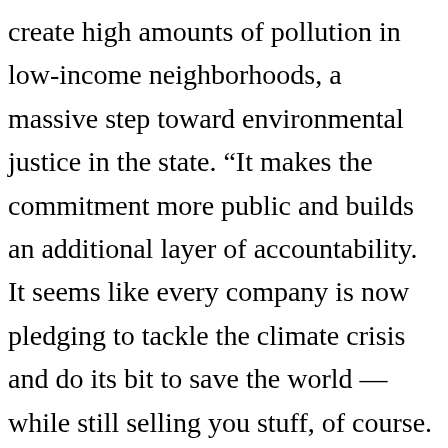create high amounts of pollution in low-income neighborhoods, a massive step toward environmental justice in the state. “It makes the commitment more public and builds an additional layer of accountability. It seems like every company is now pledging to tackle the climate crisis and do its bit to save the world — while still selling you stuff, of course. Carbon Trade: Carbon trading is an exchange of credits between nations designed to reduce emissions of carbon dioxide. For instance, if a grocery store chain has set a